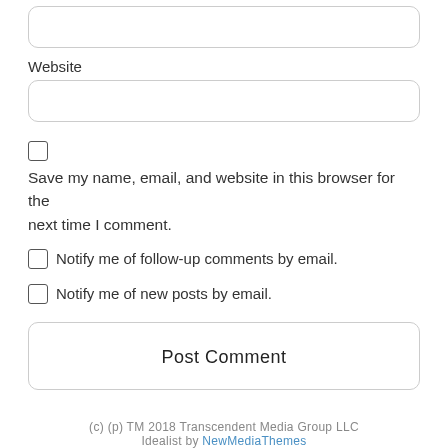Website
Save my name, email, and website in this browser for the next time I comment.
Notify me of follow-up comments by email.
Notify me of new posts by email.
Post Comment
(c) (p) TM 2018 Transcendent Media Group LLC
Idealist by NewMediaThemes